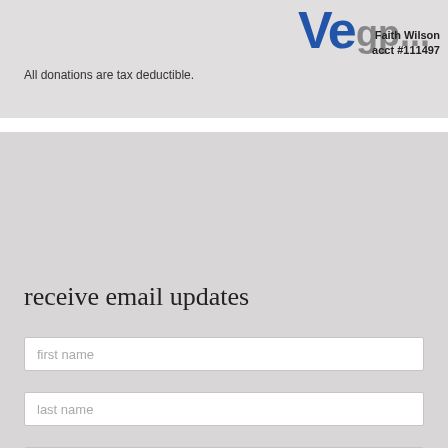[Figure (logo): Partial logo (looks like 'Ve' in blue with partially visible text) in upper right corner]
Faith Wilson
acct #111497
All donations are tax deductible.
receive email updates
first name
last name
email
sign up